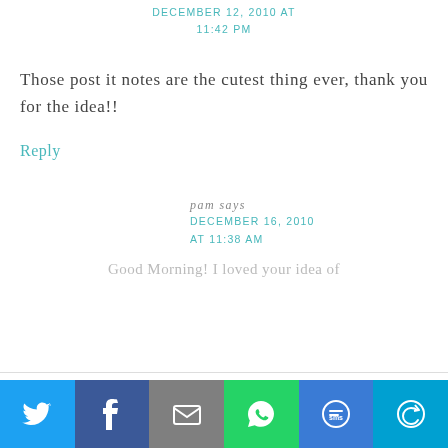DECEMBER 12, 2010 AT 11:42 PM
Those post it notes are the cutest thing ever, thank you for the idea!!
Reply
pam says
DECEMBER 16, 2010 AT 11:38 AM
Good Morning! I loved your idea of
[Figure (infographic): Social share bar with six buttons: Twitter (blue bird icon), Facebook (dark blue f icon), Email (grey envelope icon), WhatsApp (green phone/chat icon), SMS (blue SMS icon), More (teal circular arrows icon)]